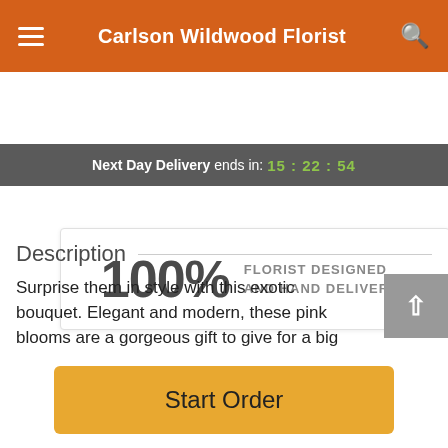Carlson Wildwood Florist
Next Day Delivery ends in: 15:22:54
100% FLORIST DESIGNED AND HAND DELIVERED
Description
Surprise them in style with this exotic bouquet. Elegant and modern, these pink blooms are a gorgeous gift to give for a big celebration or just because you love them.
Treat them to dendrobium orchids that pop against monkey grass and galax leaves.
Start Order